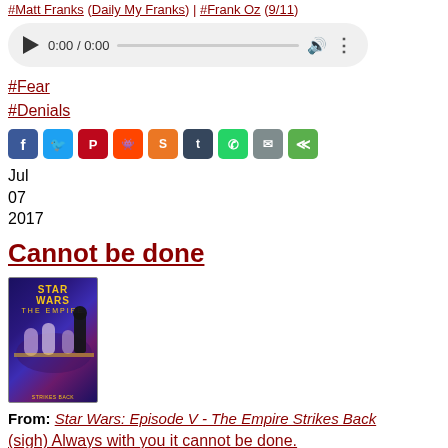#Matt Franks (Daily My Franks) | #Frank Oz (9/11)
[Figure (other): Audio player widget showing 0:00 / 0:00 with play button, progress bar, volume icon, and more options icon]
#Fear
#Denials
[Figure (infographic): Social share buttons: Facebook, Twitter, Pinterest, Reddit, StumbleUpon, Tumblr, WhatsApp, Email, Share]
Jul
07
2017
Cannot be done
[Figure (photo): Star Wars: The Empire Strikes Back DVD/Blu-ray cover art showing characters and Darth Vader]
From: Star Wars: Episode V - The Empire Strikes Back
(sigh) Always with you it cannot be done.
Frank Oz (Yoda)